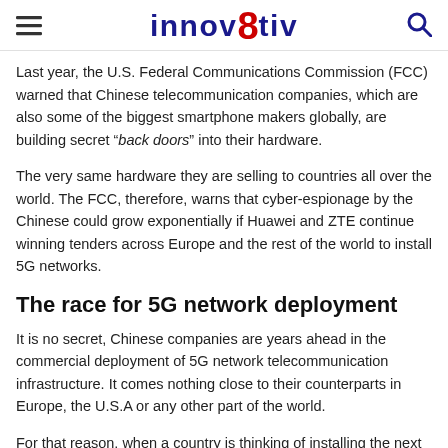innov8tiv
Last year, the U.S. Federal Communications Commission (FCC) warned that Chinese telecommunication companies, which are also some of the biggest smartphone makers globally, are building secret “back doors” into their hardware.
The very same hardware they are selling to countries all over the world. The FCC, therefore, warns that cyber-espionage by the Chinese could grow exponentially if Huawei and ZTE continue winning tenders across Europe and the rest of the world to install 5G networks.
The race for 5G network deployment
It is no secret, Chinese companies are years ahead in the commercial deployment of 5G network telecommunication infrastructure. It comes nothing close to their counterparts in Europe, the U.S.A or any other part of the world.
For that reason, when a country is thinking of installing the next generation of wireless technology. They are most likely to knock on